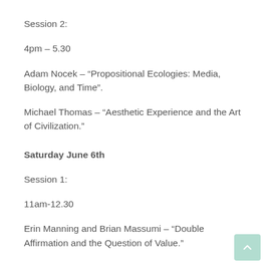Session 2:
4pm – 5.30
Adam Nocek – “Propositional Ecologies: Media, Biology, and Time”.
Michael Thomas – “Aesthetic Experience and the Art of Civilization.”
Saturday June 6th
Session 1:
11am-12.30
Erin Manning and Brian Massumi – “Double Affirmation and the Question of Value.”